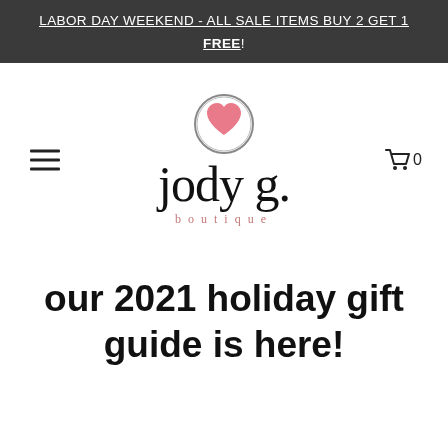LABOR DAY WEEKEND - ALL SALE ITEMS BUY 2 GET 1 FREE!
[Figure (logo): Jody G. Boutique logo: a pink heart inside a black circle above the text 'jody g.' in large serif font with 'boutique' below in small salmon-colored spaced lettering]
our 2021 holiday gift guide is here!